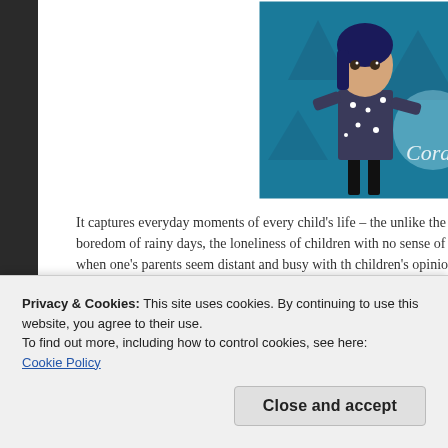[Figure (photo): Movie promotional image for Coraline showing an animated girl character with blue hair and star-patterned shirt against a teal/blue background, with the text 'Coraline' partially visible on the right side.]
It captures everyday moments of every child's life – the unlike the boredom of rainy days, the loneliness of children with no sense of loss when one's parents seem distant and busy with th children's opinions are glossed over and ignored when it come choosing clothes for school.
Privacy & Cookies: This site uses cookies. By continuing to use this website, you agree to their use.
To find out more, including how to control cookies, see here: Cookie Policy